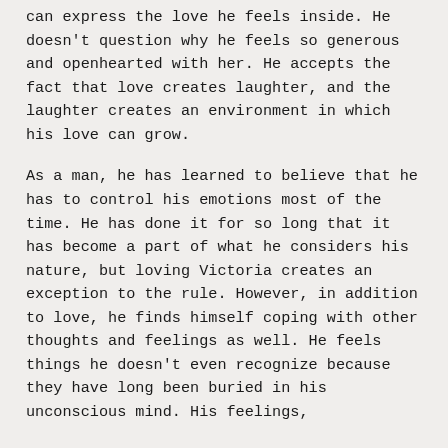can express the love he feels inside. He doesn't question why he feels so generous and openhearted with her. He accepts the fact that love creates laughter, and the laughter creates an environment in which his love can grow.
As a man, he has learned to believe that he has to control his emotions most of the time. He has done it for so long that it has become a part of what he considers his nature, but loving Victoria creates an exception to the rule. However, in addition to love, he finds himself coping with other thoughts and feelings as well. He feels things he doesn't even recognize because they have long been buried in his unconscious mind. His feelings,